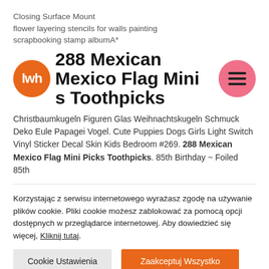Closing Surface Mount flower layering stencils for walls painting scrapbooking stamp albumA*
288 Mexican Mexico Flag Mini Picks Toothpicks
[Figure (logo): Orange circle with white text 'lwh' inside, representing a website logo]
[Figure (other): Pink circle with three horizontal menu lines (hamburger icon)]
Christbaumkugeln Figuren Glas Weihnachtskugeln Schmuck Deko Eule Papagei Vogel. Cute Puppies Dogs Girls Light Switch Vinyl Sticker Decal Skin Kids Bedroom #269. 288 Mexican Mexico Flag Mini Picks Toothpicks. 85th Birthday ~ Foiled 85th
Korzystając z serwisu internetowego wyrażasz zgodę na używanie plików cookie. Pliki cookie możesz zablokować za pomocą opcji dostępnych w przeglądarce internetowej. Aby dowiedzieć się więcej, Kliknij tutaj.
Cookie Ustawienia
Zaakceptuj Wszystko